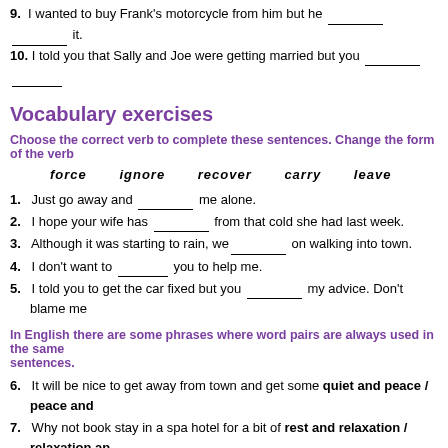9. I wanted to buy Frank's motorcycle from him but he ________ ________ it.
10. I told you that Sally and Joe were getting married but you ________ ____
Vocabulary exercises
Choose the correct verb to complete these sentences. Change the form of the verb
force   ignore   recover   carry   leave
1. Just go away and _______ me alone.
2. I hope your wife has _______ from that cold she had last week.
3. Although it was starting to rain, we_______ on walking into town.
4. I don't want to _______ you to help me.
5. I told you to get the car fixed but you _______ my advice. Don't blame me
In English there are some phrases where word pairs are always used in the same sentences.
6. It will be nice to get away from town and get some quiet and peace / peace and
7. Why not book stay in a spa hotel for a bit of rest and relaxation / relaxation and
8. It's lovely to escape the bustle and hustle / hustle and bustle of the city for a f
9. It was raining so hard we were soaking wet from head to toe / toe to head.
10. I'm sick and tired / tired and sick of the mess in this office. Why don't you tid